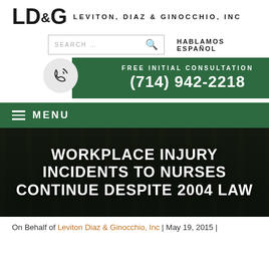LD&G LEVITON, DIAZ & GINOCCHIO, INC
SEARCH ... [search icon] HABLAMOS ESPAÑOL
FREE INITIAL CONSULTATION (714) 942-2218
≡ MENU
WORKPLACE INJURY INCIDENTS TO NURSES CONTINUE DESPITE 2004 LAW
On Behalf of Leviton Diaz & Ginocchio, Inc | May 19, 2015 |